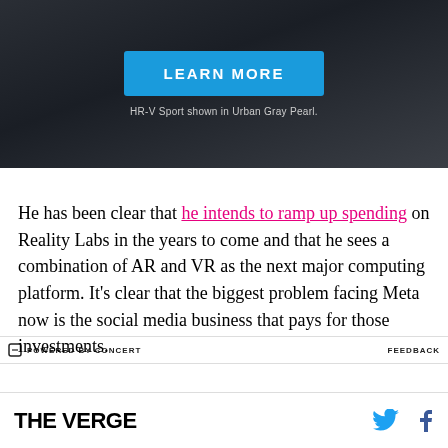[Figure (photo): Dark gray advertisement banner with a 'LEARN MORE' blue button and caption 'HR-V Sport shown in Urban Gray Pearl.']
POWERED BY CONCERT    FEEDBACK
He has been clear that he intends to ramp up spending on Reality Labs in the years to come and that he sees a combination of AR and VR as the next major computing platform. It's clear that the biggest problem facing Meta now is the social media business that pays for those investments.
THE VERGE